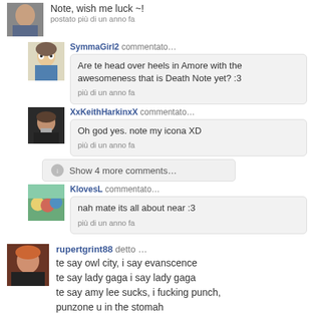Note, wish me luck ~!
postato più di un anno fa
SymmaGirl2 commentato…
Are te head over heels in Amore with the awesomeness that is Death Note yet? :3
più di un anno fa
XxKeithHarkinxX commentato…
Oh god yes. note my icona XD
più di un anno fa
Show 4 more comments…
KlovesL commentato…
nah mate its all about near :3
più di un anno fa
rupertgrint88 detto …
te say owl city, i say evanscence te say lady gaga i say lady gaga te say amy lee sucks, i fucking punch, punzone u in the stomah